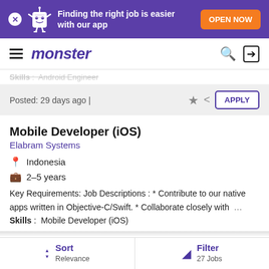[Figure (screenshot): Monster job board mobile app promotional banner with purple background, mascot character, text 'Finding the right job is easier with our app', and orange 'OPEN NOW' button]
monster
Skills : Android Engineer
Posted: 29 days ago |
Mobile Developer (iOS)
Elabram Systems
Indonesia
2–5 years
Key Requirements: Job Descriptions : * Contribute to our native apps written in Objective-C/Swift. * Collaborate closely with ...
Skills : Mobile Developer (iOS)
Sort Relevance | Filter 27 Jobs